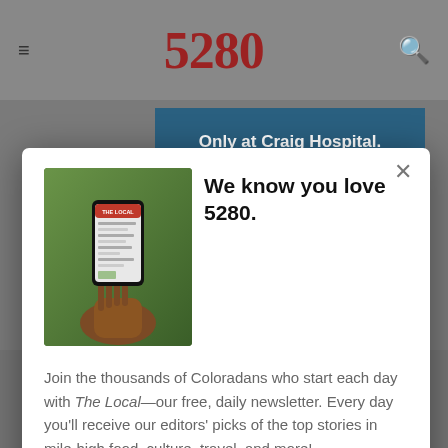5280
[Figure (screenshot): Screenshot of 5280 magazine website with navigation bar showing hamburger menu, 5280 logo in red, and search icon. Background shows an ad for Craig Hospital and partially visible page content.]
We know you love 5280.
Join the thousands of Coloradans who start each day with The Local—our free, daily newsletter. Every day you'll receive our editors' picks of the top stories in mile-high food, culture, travel, and more!
SIGN ME UP!
EDITORS' PICKS